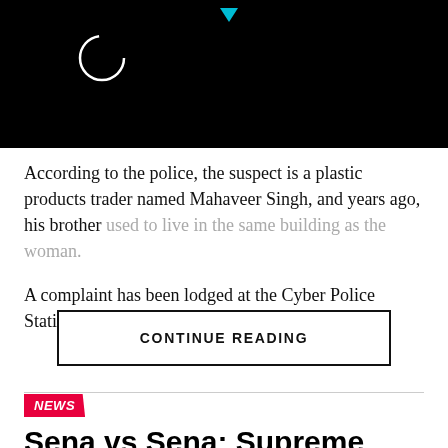[Figure (screenshot): Black header bar with a circular loading spinner icon and a small cyan triangle/arrow at the top center]
According to the police, the suspect is a plastic products trader named Mahaveer Singh, and years ago, his brother used to live in the same building as the woman.
A complaint has been lodged at the Cyber Police Station
CONTINUE READING
NEWS
Sena vs Sena: Supreme Court sends Maharashtra petitions to 5-judge